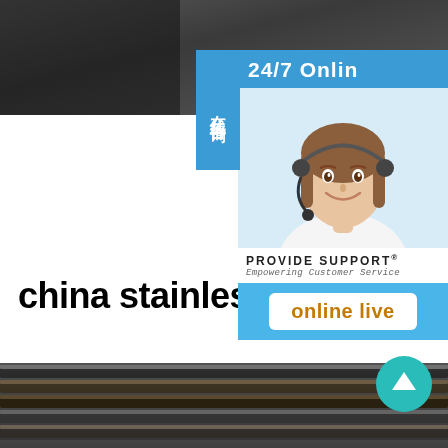[Figure (photo): Top dark industrial/manufacturing background photo banner]
china stainless steel pip
[Figure (infographic): Customer service live chat widget showing 24/7 Online text, photo of woman with headset, PROVIDE SUPPORT Empowering Customer Service branding, and online live button]
在线咨询
[Figure (photo): Bottom photo of stainless steel pipes stacked horizontally]
[Figure (other): Teal circular scroll-to-top button with upward arrow]